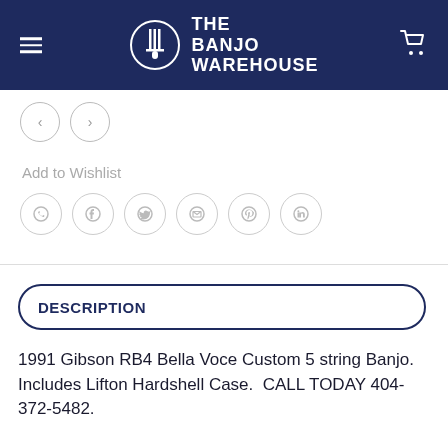THE BANJO WAREHOUSE
Add to Wishlist
DESCRIPTION
1991 Gibson RB4 Bella Voce Custom 5 string Banjo.  Includes Lifton Hardshell Case.  CALL TODAY 404-372-5482.